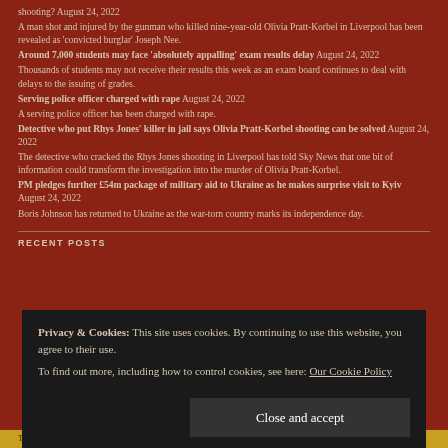shooting? August 24, 2022
A man shot and injured by the gunman who killed nine-year-old Olivia Pratt-Korbel in Liverpool has been revealed as 'convicted burglar' Joseph Nee.
Around 7,000 students may face 'absolutely appalling' exam results delay August 24, 2022
Thousands of students may not receive their results this week as an exam board continues to deal with delays to the issuing of grades.
Serving police officer charged with rape August 24, 2022
A serving police officer has been charged with rape.
Detective who put Rhys Jones' killer in jail says Olivia Pratt-Korbel shooting can be solved August 24, 2022
The detective who cracked the Rhys Jones shooting in Liverpool has told Sky News that one bit of information could transform the investigation into the murder of Olivia Pratt-Korbel.
PM pledges further £54m package of military aid to Ukraine as he makes surprise visit to Kyiv August 24, 2022
Boris Johnson has returned to Ukraine as the war-torn country marks its independence day.
RECENT POSTS
Privacy & Cookies: This site uses cookies. By continuing to use this website, you agree to their use. To find out more, including how to control cookies, see here: Our Cookie Policy
There is no time like the present to rethink fndines for institutions of hieher learning –